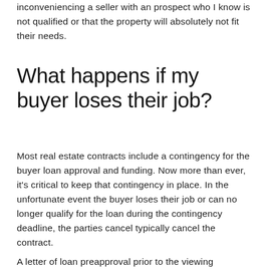inconveniencing a seller with an prospect who I know is not qualified or that the property will absolutely not fit their needs.
What happens if my buyer loses their job?
Most real estate contracts include a contingency for the buyer loan approval and funding. Now more than ever, it's critical to keep that contingency in place. In the unfortunate event the buyer loses their job or can no longer qualify for the loan during the contingency deadline, the parties cancel typically cancel the contract.
A letter of loan preapproval prior to the viewing